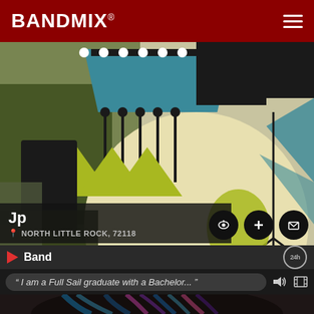BANDMIX®
[Figure (illustration): Mid-century modern style illustration of a jazz band with drumkit, guitar shapes, and geometric shapes in olive green, teal, black, and cream colors]
Jp
NORTH LITTLE ROCK, 72118
Band
" I am a Full Sail graduate with a Bachelor... "